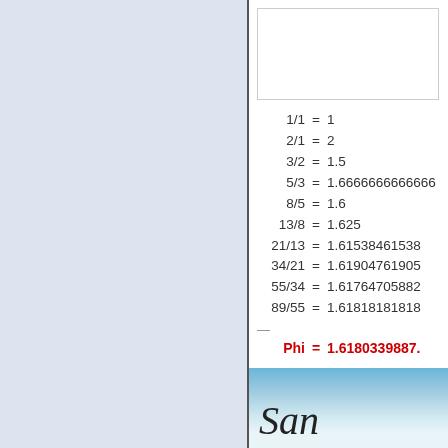[Figure (other): White rectangular box at top right panel]
1/1  = 1
2/1  = 2
3/2  = 1.5
5/3  = 1.6666666666666
8/5  = 1.6
13/8 = 1.625
21/13= 1.61538461538
34/21= 1.61904761905
55/34= 1.61764705882
89/55= 1.61818181818
—
Phi  = 1.6180339887.
[Figure (photo): Partial image at bottom showing clouds and script text 'San']